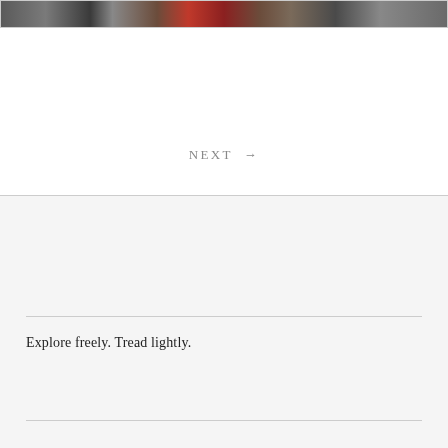[Figure (photo): Partial view of a photo showing colorful crowd or market scene, cropped at top of page]
NEXT →
Explore freely. Tread lightly.